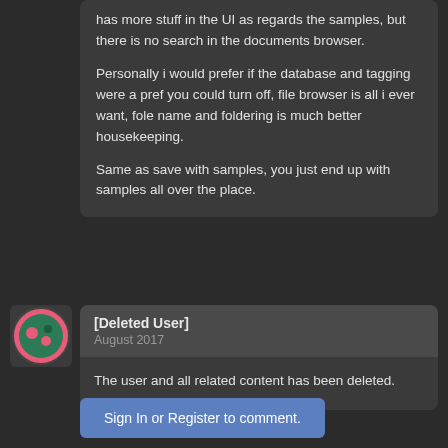has more stuff in the UI as regards the samples, but there is no search in the documents browser.
Personally i would prefer if the database and tagging were a pref you could turn off, file browser is all i ever want, fole name and foldering is much better housekeeping.
Same as save with samples, you just end up with samples all over the place.
[Deleted User]
August 2017
The user and all related content has been deleted.
Sign In or Register to comment.